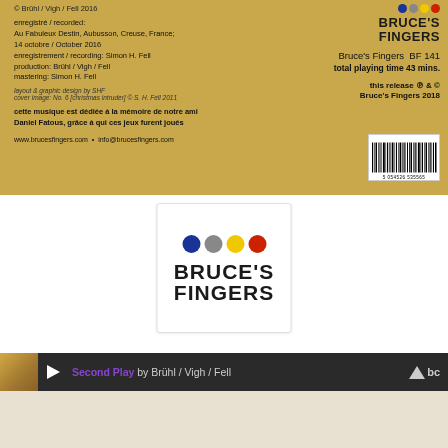[Figure (photo): Back cover of a music CD/release by Brühl/Vigh/Fell on Bruce's Fingers label. Yellowish/golden textured background. Left side contains recording credits, dedication, and website info. Right side has the Bruce's Fingers logo with colored dots, catalog number BF 141, total playing time 43 mins, copyright 2018, and a barcode.]
© Brühl / Vigh / Fell  2016
enregistré / recorded:
Au Fabuleux Destin, Aubusson, Creuse, France;
14 octobre / October 2016
enregistrement / recording: Simon H. Fell
production: Brühl / Vigh / Fell
mastering: Simon H. Fell
layout & graphic design by SHF
cover image: No. 6 [christmas intruder] © S. H. Fell 2011
cette musique est dédiée à la mémoire de notre ami Daniel Fatous, grâce à qui ces jeux furent joués
www.brucesfingers.com  •  info@brucesfingers.com
BRUCE'S FINGERS
Bruce's Fingers  BF 141
total playing time 43 mins.
this release ℗ & ©
Bruce's Fingers 2018
[Figure (logo): Bruce's Fingers logo: four colored circles (blue, gray, yellow, red) above bold black stencil-style text reading BRUCE'S FINGERS]
[Figure (screenshot): Bandcamp audio player bar showing: album thumbnail, play button, track title 'Second Play' by Brühl / Vigh / Fell, and Bandcamp bc logo on dark background]
Second Play by Brühl / Vigh / Fell